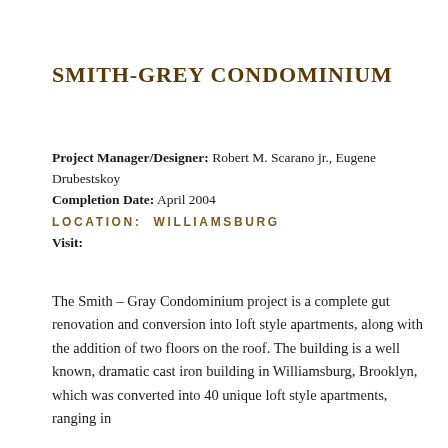SMITH-GREY CONDOMINIUM
Project Manager/Designer: Robert M. Scarano jr., Eugene Drubestskoy
Completion Date: April 2004
LOCATION: WILLIAMSBURG
Visit:
The Smith – Gray Condominium project is a complete gut renovation and conversion into loft style apartments, along with the addition of two floors on the roof. The building is a well known, dramatic cast iron building in Williamsburg, Brooklyn, which was converted into 40 unique loft style apartments, ranging in